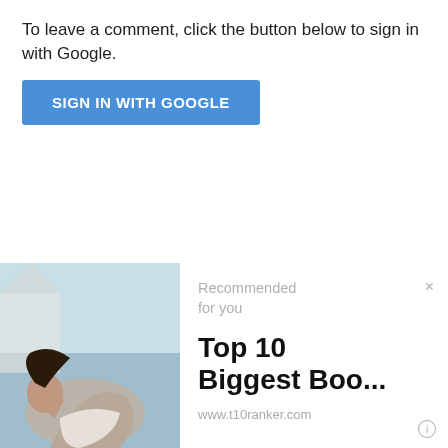To leave a comment, click the button below to sign in with Google.
[Figure (screenshot): Blue 'SIGN IN WITH GOOGLE' button]
[Figure (photo): Photo of a person leaning back outdoors near water]
Recommended for you
Top 10 Biggest Boo...
www.t10ranker.com